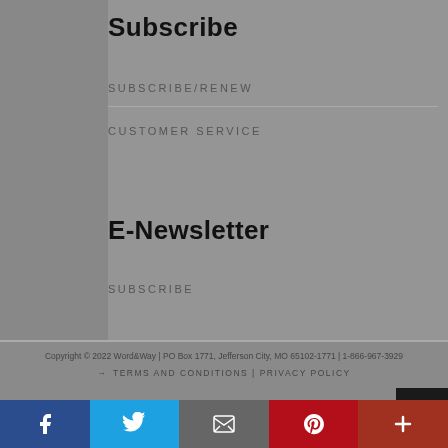Subscribe
SUBSCRIBE/RENEW
CUSTOMER SERVICE
E-Newsletter
SUBSCRIBE
Copyright © 2022 Word&Way | PO Box 1771, Jefferson City, MO 65102-1771 | 1-866-967-3929
→ TERMS AND CONDITIONS | PRIVACY POLICY